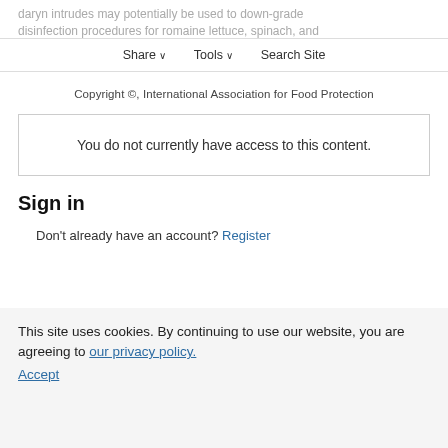daryn intrudes may potentially be used to down-grade disinfection procedures for romaine lettuce, spinach, and coriander.
Share | Tools | Search Site
Copyright ©, International Association for Food Protection
You do not currently have access to this content.
Sign in
Don't already have an account? Register
This site uses cookies. By continuing to use our website, you are agreeing to our privacy policy. Accept